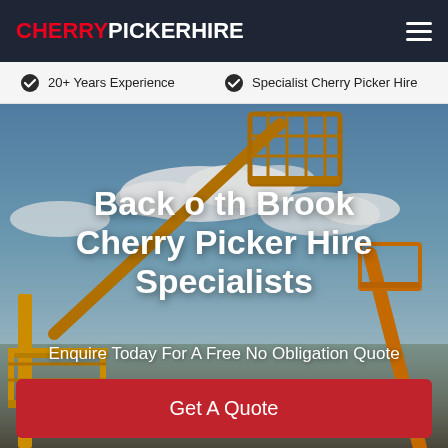CHERRYPICKERHIRE
20+ Years Experience
Specialist Cherry Picker Hire
[Figure (photo): Cherry picker / aerial work platform (boom lift) photographed from below against a blue sky with clouds, yellow equipment visible]
Back o th Brook Cherry Picker Hire Specialists
Enquire Today For A Free No Obligation Quote
Get A Quote